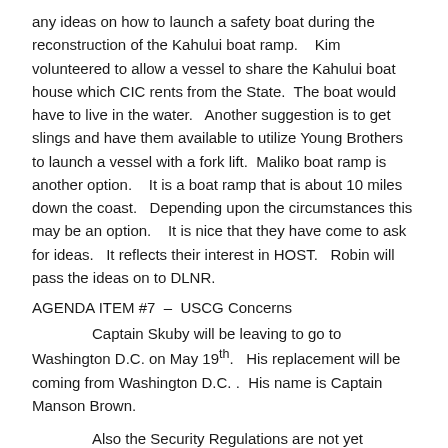any ideas on how to launch a safety boat during the reconstruction of the Kahului boat ramp.    Kim volunteered to allow a vessel to share the Kahului boat house which CIC rents from the State.  The boat would have to live in the water.   Another suggestion is to get slings and have them available to utilize Young Brothers to launch a vessel with a fork lift.  Maliko boat ramp is another option.    It is a boat ramp that is about 10 miles down the coast.   Depending upon the circumstances this may be an option.    It is nice that they have come to ask for ideas.   It reflects their interest in HOST.   Robin will pass the ideas on to DLNR.
AGENDA ITEM #7  –  USCG Concerns
Captain Skuby will be leaving to go to Washington D.C. on May 19th.   His replacement will be coming from Washington D.C. .  His name is Captain Manson Brown.
Also the Security Regulations are not yet finalized because legal is looking over some issues.
AGENDA ITEM #8    State of Hawaii Concerns
No one from State was present.
AGENDA ITEM #9    Coast Guard Auxiliary